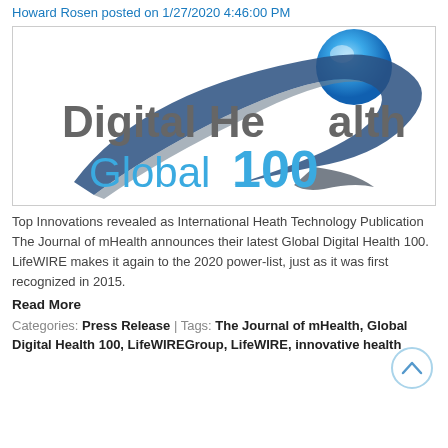Howard Rosen posted on 1/27/2020 4:46:00 PM
[Figure (logo): Digital Health Global 100 logo with blue sphere and swoosh graphic]
Top Innovations revealed as International Heath Technology Publication The Journal of mHealth announces their latest Global Digital Health 100. LifeWIRE makes it again to the 2020 power-list, just as it was first recognized in 2015.
Read More
Categories: Press Release | Tags: The Journal of mHealth, Global Digital Health 100, LifeWIREGroup, LifeWIRE, innovative health